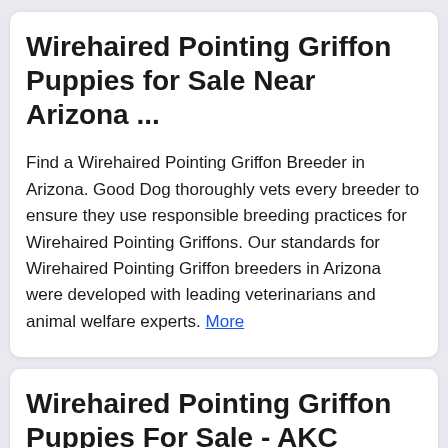Wirehaired Pointing Griffon Puppies for Sale Near Arizona ...
Find a Wirehaired Pointing Griffon Breeder in Arizona. Good Dog thoroughly vets every breeder to ensure they use responsible breeding practices for Wirehaired Pointing Griffons. Our standards for Wirehaired Pointing Griffon breeders in Arizona were developed with leading veterinarians and animal welfare experts. More
Wirehaired Pointing Griffon Puppies For Sale - AKC PuppyFinder